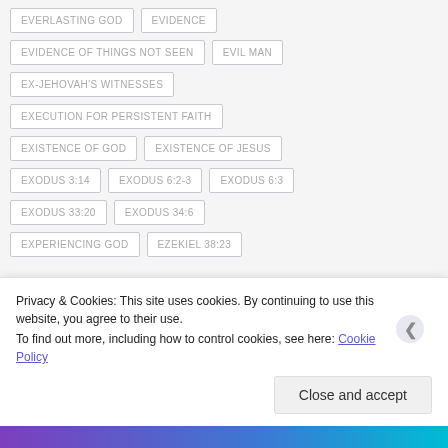EVERLASTING GOD
EVIDENCE
EVIDENCE OF THINGS NOT SEEN
EVIL MAN
EX-JEHOVAH'S WITNESSES
EXECUTION FOR PERSISTENT FAITH
EXISTENCE OF GOD
EXISTENCE OF JESUS
EXODUS 3:14
EXODUS 6:2-3
EXODUS 6:3
EXODUS 33:20
EXODUS 34:6
EXPERIENCING GOD
EZEKIEL 38:23
Privacy & Cookies: This site uses cookies. By continuing to use this website, you agree to their use. To find out more, including how to control cookies, see here: Cookie Policy
Close and accept